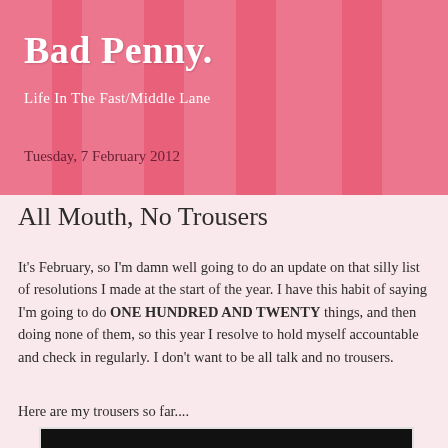Bad Penny.
Life In The Fast/Middle Lane
Tuesday, 7 February 2012
All Mouth, No Trousers
It's February, so I'm damn well going to do an update on that silly list of resolutions I made at the start of the year. I have this habit of saying I'm going to do ONE HUNDRED AND TWENTY things, and then doing none of them, so this year I resolve to hold myself accountable and check in regularly. I don't want to be all talk and no trousers.
Here are my trousers so far....
[Figure (photo): Partial black and white photograph at bottom of page, appears to show a person wearing a jeweled or beaded dress/top]